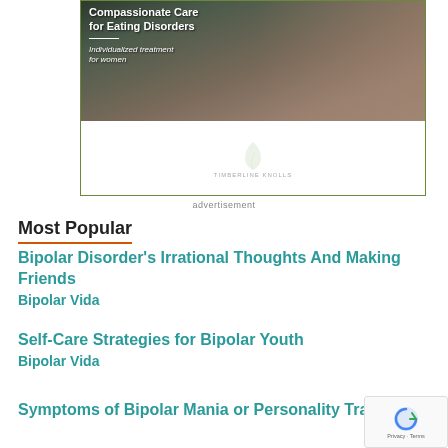[Figure (illustration): Advertisement banner for Timberline Knolls eating disorder treatment center. Shows group of women smiling together outdoors. Text reads 'Compassionate Care for Eating Disorders - Individualized treatment for women'. Lower portion shows white area with leaf logo and 'Timberline Knolls' branding.]
advertisement
Most Popular
Bipolar Disorder's Irrational Thoughts And Making Friends
Bipolar Vida
Self-Care Strategies for Bipolar Youth
Bipolar Vida
Symptoms of Bipolar Mania or Personality Traits?